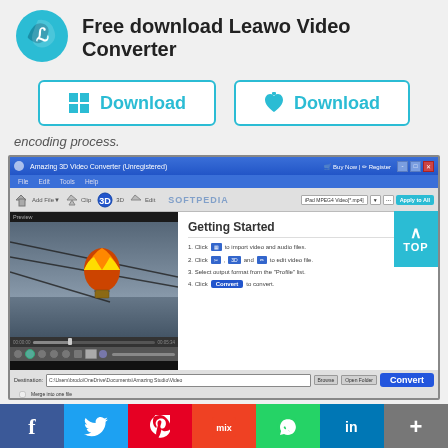[Figure (logo): Leawo circular logo in teal/blue]
Free download Leawo Video Converter
[Figure (screenshot): Two download buttons: Windows Download and Mac Download with teal borders]
encoding process.
[Figure (screenshot): Screenshot of Amazing 3D Video Converter (Unregistered) application window showing a hot air balloon video preview on the left and Getting Started panel on the right with steps to import, edit, select format, and convert video files. Bottom shows destination path and Convert button.]
[Figure (infographic): Social sharing bar with Facebook, Twitter, Pinterest, Mix, WhatsApp, LinkedIn, and More buttons]